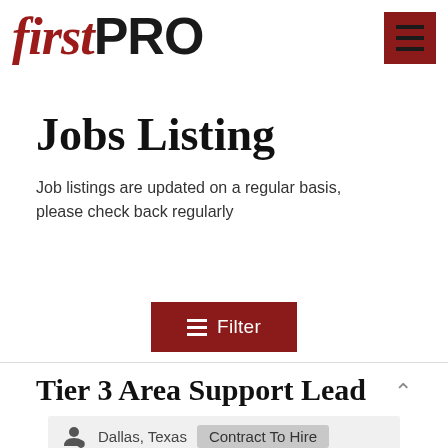[Figure (logo): firstPRO logo — 'first' in red italic serif, 'PRO' in black bold sans-serif]
[Figure (other): Dark red hamburger menu button with three horizontal black lines]
Jobs Listing
Job listings are updated on a regular basis, please check back regularly
[Figure (other): Dark red Filter button with hamburger icon and text '≡ Filter']
Tier 3 Area Support Lead
Dallas, Texas   Contract To Hire